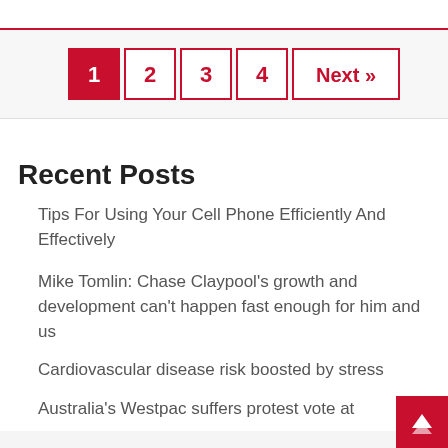Pagination: 1 2 3 4 Next »
Recent Posts
Tips For Using Your Cell Phone Efficiently And Effectively
Mike Tomlin: Chase Claypool's growth and development can't happen fast enough for him and us
Cardiovascular disease risk boosted by stress
Australia's Westpac suffers protest vote at